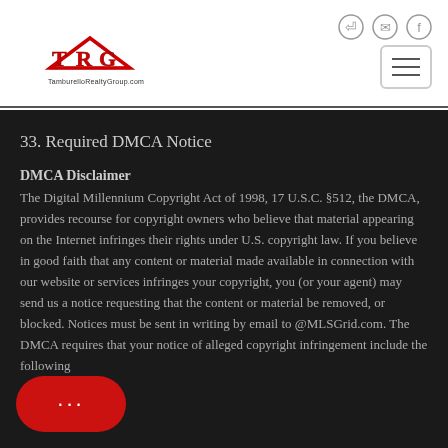[Figure (logo): TamburelloRealtyGroup.com logo with red TRG lettering and house roof graphic]
33. Required DMCA Notice
DMCA Disclaimer
The Digital Millennium Copyright Act of 1998, 17 U.S.C. §512, the DMCA, provides recourse for copyright owners who believe that material appearing on the Internet infringes their rights under U.S. copyright law. If you believe in good faith that any content or material made available in connection with our website or services infringes your copyright, you (or your agent) may send us a notice requesting that the content or material be removed, or blocked. Notices must be sent in writing by email to @MLSGrid.com. The DMCA requires that your notice of alleged copyright infringement include the following